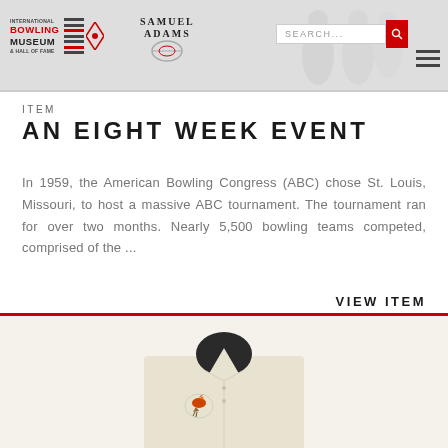[Figure (screenshot): International Bowling Museum & Hall of Fame logo with red and black stacked bars]
[Figure (logo): Samuel Adams beer logo with shield/diamond shape]
[Figure (screenshot): Search bar with red search button icon]
[Figure (screenshot): Hamburger menu icon (three horizontal bars)]
ITEM
AN EIGHT WEEK EVENT
In 1959, the American Bowling Congress (ABC) chose St. Louis, Missouri, to host a massive ABC tournament. The tournament ran for over two months. Nearly 5,500 bowling teams competed, comprised of the ...
VIEW ITEM
[Figure (photo): A cream/beige bowling shirt displayed on a mannequin with a dark collar, showing a decorative embroidered patch on the chest]